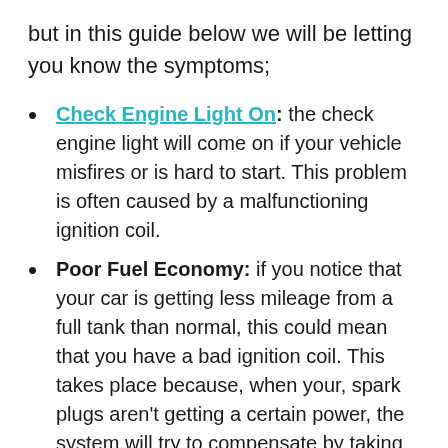but in this guide below we will be letting you know the symptoms;
Check Engine Light On: the check engine light will come on if your vehicle misfires or is hard to start. This problem is often caused by a malfunctioning ignition coil.
Poor Fuel Economy: if you notice that your car is getting less mileage from a full tank than normal, this could mean that you have a bad ignition coil. This takes place because, when your, spark plugs aren't getting a certain power, the system will try to compensate by taking more fuel.
Hard Starts And Stalling: the ignition needs to spark at just the right time for the engine to start